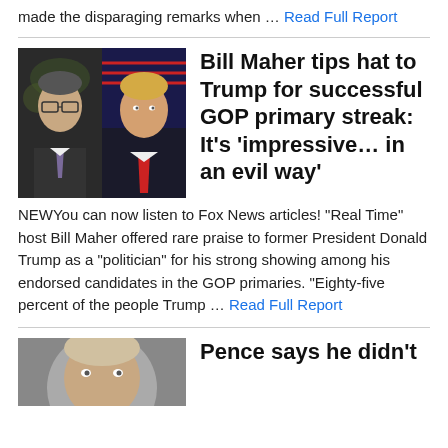made the disparaging remarks when … Read Full Report
[Figure (photo): Side-by-side photo of Bill Maher and Donald Trump]
Bill Maher tips hat to Trump for successful GOP primary streak: It's 'impressive… in an evil way'
NEWYou can now listen to Fox News articles! "Real Time" host Bill Maher offered rare praise to former President Donald Trump as a "politician" for his strong showing among his endorsed candidates in the GOP primaries. "Eighty-five percent of the people Trump … Read Full Report
[Figure (photo): Close-up photo of a person (partially visible at bottom)]
Pence says he didn't